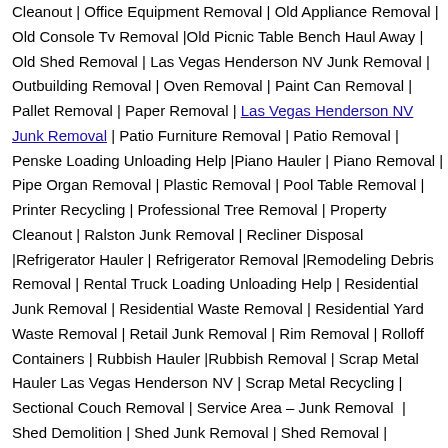Cleanout | Office Equipment Removal | Old Appliance Removal | Old Console Tv Removal |Old Picnic Table Bench Haul Away | Old Shed Removal | Las Vegas Henderson NV Junk Removal | Outbuilding Removal | Oven Removal | Paint Can Removal | Pallet Removal | Paper Removal | Las Vegas Henderson NV Junk Removal | Patio Furniture Removal | Patio Removal | Penske Loading Unloading Help |Piano Hauler | Piano Removal | Pipe Organ Removal | Plastic Removal | Pool Table Removal | Printer Recycling | Professional Tree Removal | Property Cleanout | Ralston Junk Removal | Recliner Disposal |Refrigerator Hauler | Refrigerator Removal |Remodeling Debris Removal | Rental Truck Loading Unloading Help | Residential Junk Removal | Residential Waste Removal | Residential Yard Waste Removal | Retail Junk Removal | Rim Removal | Rolloff Containers | Rubbish Hauler |Rubbish Removal | Scrap Metal Hauler Las Vegas Henderson NV | Scrap Metal Recycling | Sectional Couch Removal | Service Area – Junk Removal | Shed Demolition | Shed Junk Removal | Shed Removal | Shelving Metal Rack Removal |Site Cleanout | Sofa Hauling | Sofa Removal | Spa Removal | Spring Cleanups | Storage Facility Junk Removal | Storage Unit Cleanout |